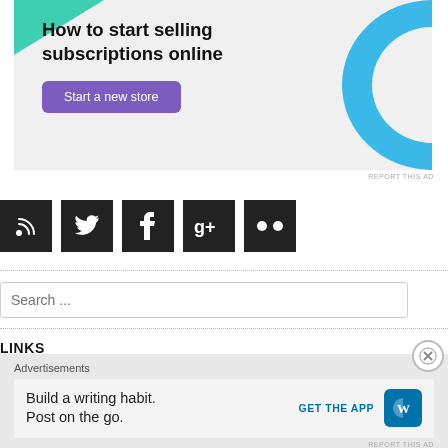[Figure (other): Advertisement banner: 'How to start selling subscriptions online' with a purple 'Start a new store' button and decorative teal/blue shapes]
REPORT THIS AD
[Figure (other): Social media icon buttons: RSS, Twitter, Facebook, Google+, Flickr]
[Figure (other): Search input field with placeholder text 'Search ...']
LINKS
[Figure (other): Bottom advertisement: 'Advertisements' label above a box with 'Build a writing habit. Post on the go.' text, 'GET THE APP' CTA, and WordPress logo]